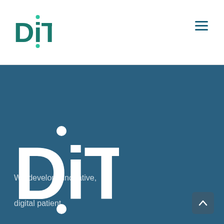[Figure (logo): DITG logo in header - teal/green text with dot above and below the i]
[Figure (other): Hamburger menu icon (three horizontal lines) in dark teal]
[Figure (logo): Large DITG logo in white on blue hero background, with white dots above and below the i]
We develop innovative,

digital patient
[Figure (other): Scroll-to-top chevron button, dark rounded rectangle with upward arrow]